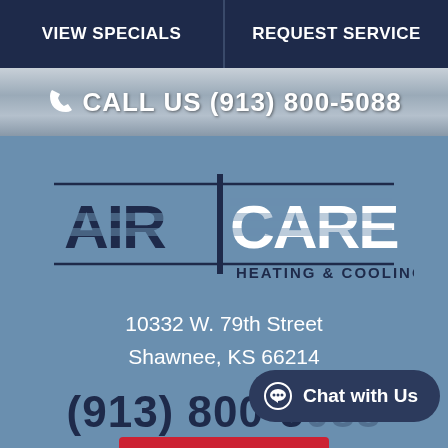VIEW SPECIALS | REQUEST SERVICE
CALL US (913) 800-5088
[Figure (logo): Air Care Heating & Cooling logo with stylized AIR and CARE text separated by a vertical bar, with horizontal lines above and below]
10332 W. 79th Street
Shawnee, KS 66214
(913) 800-5088
Chat with Us